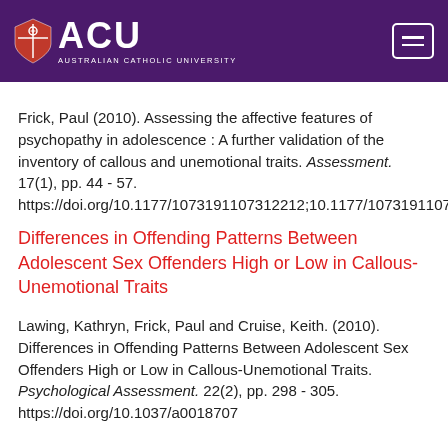[Figure (logo): ACU (Australian Catholic University) logo with shield emblem on dark purple header bar with hamburger menu icon]
Frick, Paul (2010). Assessing the affective features of psychopathy in adolescence : A further validation of the inventory of callous and unemotional traits. Assessment. 17(1), pp. 44 - 57. https://doi.org/10.1177/1073191107312212;10.1177/1073191107312212
Differences in Offending Patterns Between Adolescent Sex Offenders High or Low in Callous-Unemotional Traits
Lawing, Kathryn, Frick, Paul and Cruise, Keith. (2010). Differences in Offending Patterns Between Adolescent Sex Offenders High or Low in Callous-Unemotional Traits. Psychological Assessment. 22(2), pp. 298 - 305. https://doi.org/10.1037/a0018707